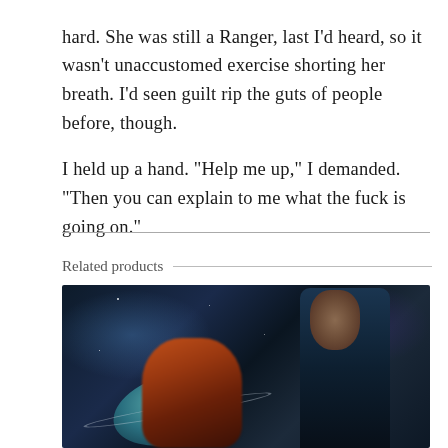hard.  She was still a Ranger, last I'd heard, so it wasn't unaccustomed exercise shorting her breath.  I'd seen guilt rip the guts of people before, though.

I held up a hand.  "Help me up," I demanded.  "Then you can explain to me what the fuck is going on."
Related products
[Figure (illustration): Book cover art showing a woman with red hair in the foreground and a man in dark clothing behind her, set against a dark space background with a planet and stars.]